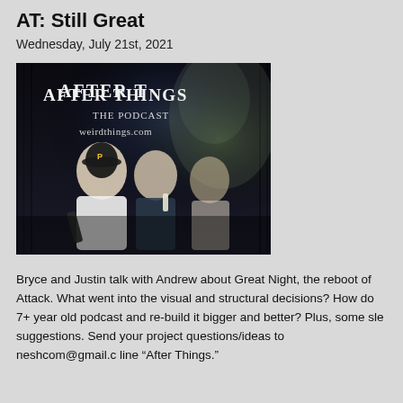AT: Still Great
Wednesday, July 21st, 2021
[Figure (photo): Podcast cover art for 'After Things The Podcast' at weirdthings.com, showing three men in a dark, moody setting. Text reads 'AFTER THINGS The Podcast weirdthings.com']
Bryce and Justin talk with Andrew about Great Night, the reboot of Attack. What went into the visual and structural decisions? How do 7+ year old podcast and re-build it bigger and better? Plus, some sle suggestions. Send your project questions/ideas to neshcom@gmail.c line “After Things.”